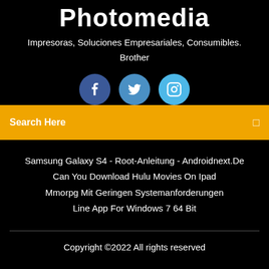Photomedia
Impresoras, Soluciones Empresariales, Consumibles.
Brother
[Figure (illustration): Three social media icon circles: Facebook (dark blue), Twitter (medium blue), Instagram (light blue) with white icons]
Search Here
Samsung Galaxy S4 - Root-Anleitung - Androidnext.De
Can You Download Hulu Movies On Ipad
Mmorpg Mit Geringen Systemanforderungen
Line App For Windows 7 64 Bit
Copyright ©2022 All rights reserved